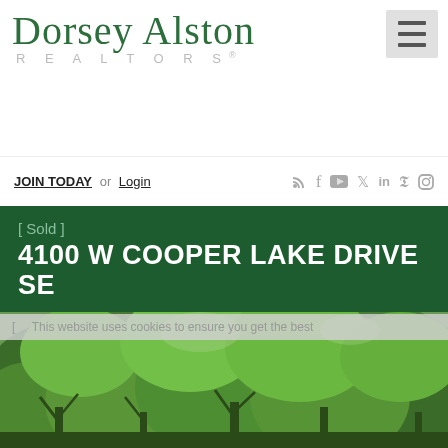[Figure (logo): Dorsey Alston Realtors logo in dark green serif font with REALTORS subtitle in gray]
[Figure (other): Hamburger menu button (three horizontal lines) in gray box, top right corner]
JOIN TODAY or Login
Social media icons: RSS, Facebook, YouTube, Twitter, LinkedIn, Pinterest, Instagram
[ Sold ] 4100 W COOPER LAKE DRIVE SE
This website uses cookies to ensure you get the best
[Figure (photo): Photograph of lush green trees with leafy canopy, property exterior]